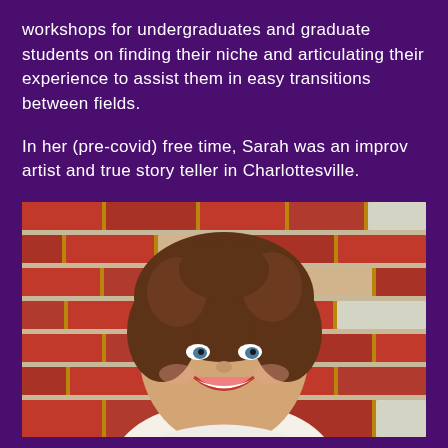workshops for undergraduates and graduate students on finding their niche and articulating their experience to assist them in easy transitions between fields.
In her (pre-covid) free time, Sarah was an improv artist and true story teller in Charlottesville.
[Figure (photo): Headshot of a smiling woman with curly brown hair, standing in front of a brick wall, wearing a light-colored top.]